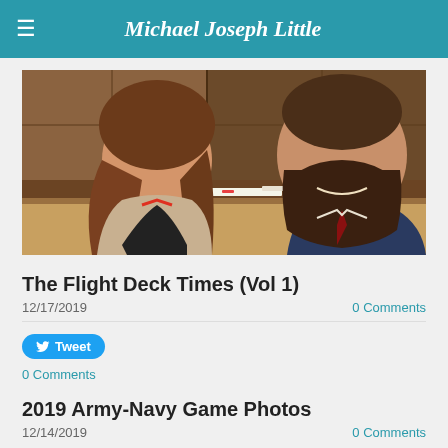Michael Joseph Little
[Figure (photo): Two people smiling for a selfie indoors, with wooden paneling in the background. A woman with long brown hair is on the left, a bearded man is on the right.]
The Flight Deck Times (Vol 1)
12/17/2019
0 Comments
Tweet
0 Comments
2019 Army-Navy Game Photos
12/14/2019
0 Comments